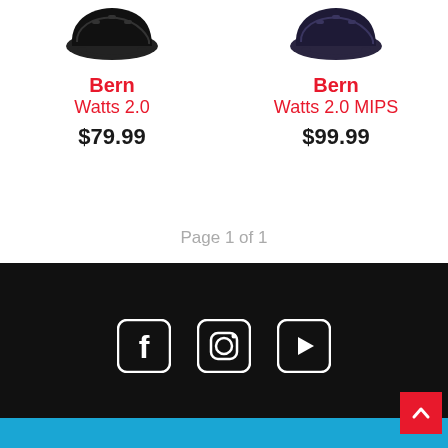[Figure (photo): Black Bern Watts 2.0 helmet product image]
Bern
Watts 2.0
$79.99
[Figure (photo): Dark navy/purple Bern Watts 2.0 MIPS helmet product image]
Bern
Watts 2.0 MIPS
$99.99
Page 1 of 1
[Figure (infographic): Social media icons: Facebook, Instagram, YouTube on black footer background]
[Figure (other): Back to top button (red arrow up)]